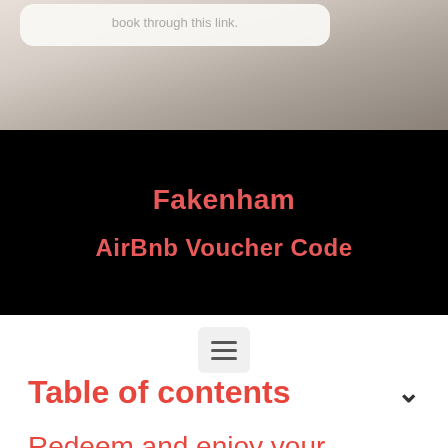[Figure (photo): Top portion showing a photo of what appears to be a room/accommodation with a white card overlay containing text 'book through this link.']
book through this link.
Fakenham
AirBnb Voucher Code
[Figure (other): Hamburger menu icon button with three horizontal lines on a light grey rounded rectangle background]
Table of contents
Redeem and enjoy your Fakenham